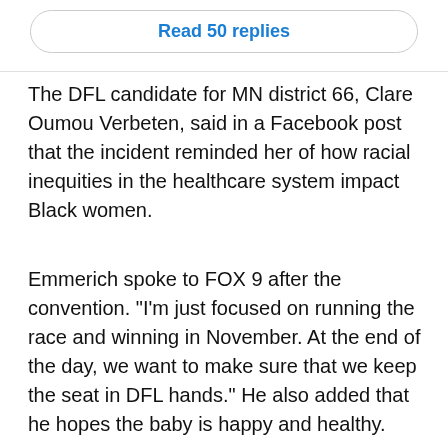[Figure (screenshot): A rounded button with blue text reading 'Read 50 replies' inside a bordered container]
The DFL candidate for MN district 66, Clare Oumou Verbeten, said in a Facebook post that the incident reminded her of how racial inequities in the healthcare system impact Black women.
Emmerich spoke to FOX 9 after the convention. "I'm just focused on running the race and winning in November. At the end of the day, we want to make sure that we keep the seat in DFL hands." He also added that he hopes the baby is happy and healthy.
Emma McBride, the political director of the Women